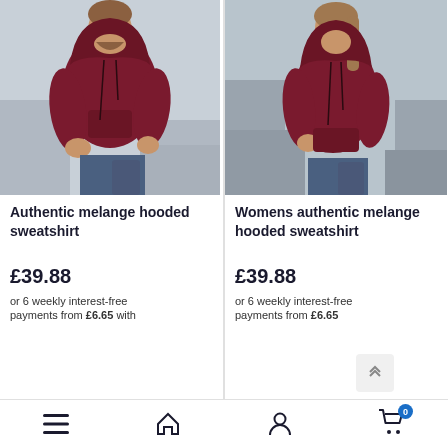[Figure (photo): Man wearing a dark red/burgundy hoodie sweatshirt, jeans, standing in front of grey geometric background]
[Figure (photo): Woman wearing a dark red/burgundy hoodie sweatshirt, jeans, standing in front of grey geometric background]
Authentic melange hooded sweatshirt
£39.88
or 6 weekly interest-free payments from £6.65 with
Womens authentic melange hooded sweatshirt
£39.88
or 6 weekly interest-free payments from £6.65